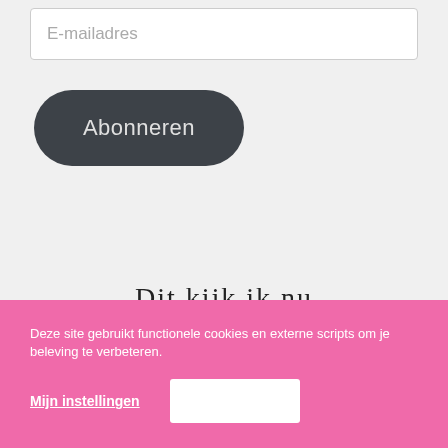E-mailadres
Abonneren
Dit kijk ik nu
[Figure (photo): TV show promotional image showing several people (cast) against a blue background, with a circular framed portrait of a young woman on the left]
Deze site gebruikt functionele cookies en externe scripts om je beleving te verbeteren.
Mijn instellingen